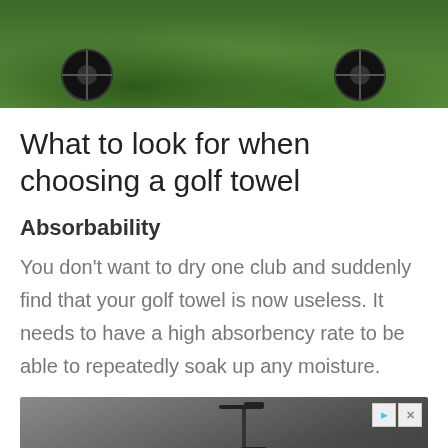[Figure (photo): Top portion of a photo showing golf equipment with black wheels/cart on green grass background]
What to look for when choosing a golf towel
Absorbability
You don't want to dry one club and suddenly find that your golf towel is now useless. It needs to have a high absorbency rate to be able to repeatedly soak up any moisture.
[Figure (photo): Advertisement banner showing a Helbiz electric scooter with text 'Download Helbiz and ride' and ad control buttons]